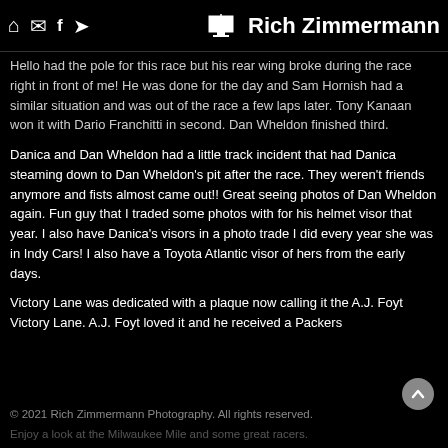Rich Zimmermann
Hello had the pole for this race but his rear wing broke during the race right in front of me!  He was done for the day and Sam Hornish had a similar situation and was out of the race a few laps later. Tony Kanaan won it with Dario Franchitti in second. Dan Wheldon finished third.
Danica and Dan Wheldon had a little track incident that had Danica steaming down to Dan Wheldon's pit after the race. They weren't friends anymore and fists almost came out!! Great seeing photos of Dan Wheldon again.  Fun guy that I traded some photos with for his helmet visor that year.  I also have Danica's visors in a photo trade I did every year she was in Indy Cars! I also have a Toyota Atlantic visor of hers from the early days.
Victory Lane was dedicated with a plaque now calling it the A.J. Foyt Victory Lane.  A.J. Foyt loved it and he received a Packers
© 2021 Rich Zimmermann Photography. All rights reserved.
Enjoy a look at the Milwaukee Mile and some great racers.